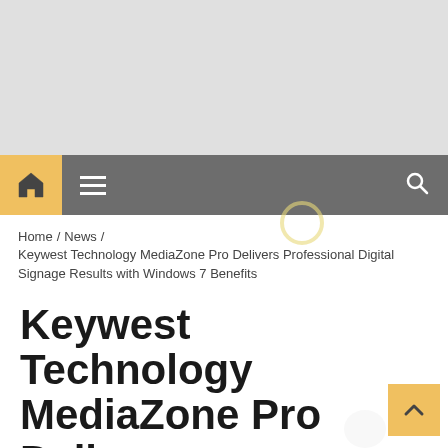[Figure (other): Gray advertisement banner placeholder at top of page]
Home / News / Keywest Technology MediaZone Pro Delivers Professional Digital Signage Results with Windows 7 Benefits
Keywest Technology MediaZone Pro Delivers Professional Digital Signage Results with